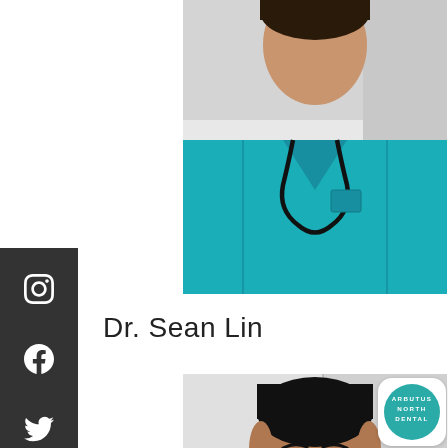[Figure (photo): A person wearing teal/turquoise scrubs with a stethoscope around their neck, photographed from upper body, partial face visible at top]
Dr. Sean Lin
[Figure (photo): A young man with dark hair, smiling, wearing professional attire, photographed from chest up against a light background]
[Figure (logo): Arbutus North Dental circular teal logo badge]